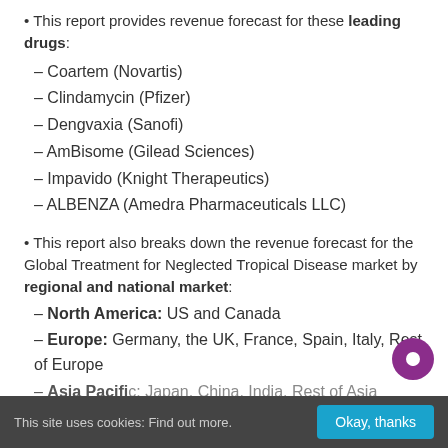This report provides revenue forecast for these leading drugs:
– Coartem (Novartis)
– Clindamycin (Pfizer)
– Dengvaxia (Sanofi)
– AmBisome (Gilead Sciences)
– Impavido (Knight Therapeutics)
– ALBENZA (Amedra Pharmaceuticals LLC)
This report also breaks down the revenue forecast for the Global Treatment for Neglected Tropical Disease market by regional and national market:
– North America: US and Canada
– Europe: Germany, the UK, France, Spain, Italy, Rest of Europe
– Asia Pacific: Japan, China, India, Rest of Asia...
This site uses cookies: Find out more.